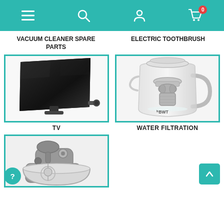Navigation bar with menu, search, account, and cart (0 items) icons
VACUUM CLEANER SPARE PARTS
ELECTRIC TOOTHBRUSH
[Figure (photo): A flat-panel TV mounted on a wall bracket, shown at an angle against a dark background]
[Figure (photo): A BWT water filtration pitcher with clear body and grey filter cartridge]
TV
WATER FILTRATION
[Figure (photo): A grey stand mixer kitchen appliance with a mixing bowl, partially visible]